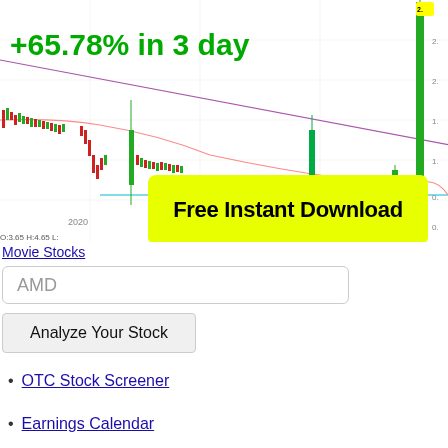[Figure (continuous-plot): Stock price candlestick chart showing a dramatic spike upward at the right side. Chart includes trend lines (purple/red downtrend, cyan support), a yellow 'Free Instant Download' button overlay, a green +65.78% in 3 day label, year label 2020, OHLC data O:3.65 H:4.65.]
Movie Stocks
AMD
Analyze Your Stock
OTC Stock Screener
Earnings Calendar